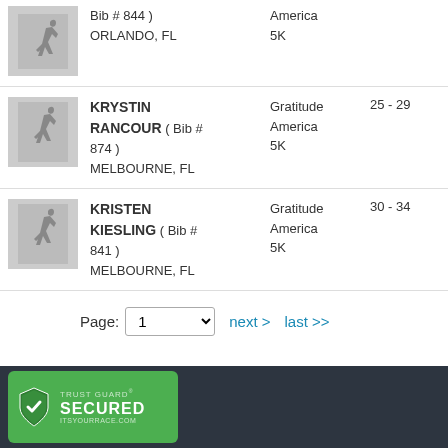Bib # 844 ) ORLANDO, FL | America 5K
KRYSTIN RANCOUR ( Bib # 874 ) MELBOURNE, FL | Gratitude America 5K | 25 - 29
KRISTEN KIESLING ( Bib # 841 ) MELBOURNE, FL | Gratitude America 5K | 30 - 34
Page: 1  next >  last >>
[Figure (logo): Trust Guard Secured badge with shield icon and text TRUST GUARD SECURED ITSYOURRACE.COM on green background]